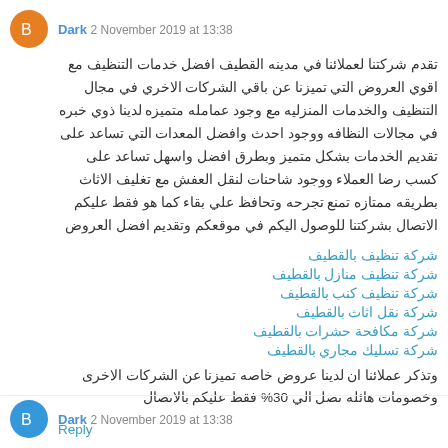Dark 2 November 2019 at 13:38
تقدم شركتنا لعملائنا في مدينه القطيف افضل خدمات التنظيف مع اقوي العروض التي تميزنا عن باقي الشركات الاخري في مجال التنظيف والخدمات المنزليه مع وجود عمامله متميزه لدينا ذوي خبره في مجالات النظافه ووجود احدث وافضل المعدات التي تساعد على تقديم الخدمات بشكل متميز وبطرق افضل واسهل تساعد على كسب رضا العملاء ووجود شاحنات لنقل العفش مع تغليف الاثاث بطريقه ممتازه تمنع تجرحه وتحافظ علي بقاء كما هو فقط عليكم الاتصال بشركتنا للوصول اليكم في موقعكم وتقديم افضل العروض
شركة تنظيف بالقطيف
شركة تنظيف منازل بالقطيف
شركة تنظيف كنب بالقطيف
شركة نقل اثاث بالقطيف
شركة مكافحة حشرات بالقطيف
شركة تسليك مجاري بالقطيف
وتذكر عملائنا ان لدينا عروض خاصه تميزنا عن الشركات الاخرى وخصومات هائله تصل الي 30% فقط عليكم بالاتصال
Reply
Dark 2 November 2019 at 13:38